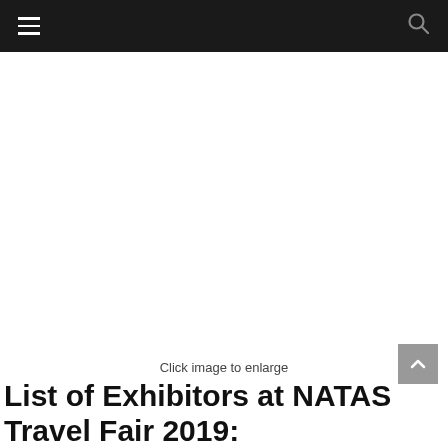[Figure (other): Large empty white image area with 'Click image to enlarge' caption below]
Click image to enlarge
List of Exhibitors at NATAS Travel Fair 2019: